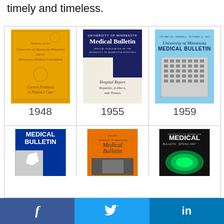timely and timeless.
[Figure (photo): Grid of University of Minnesota Medical Bulletin covers from 1948, 1955, 1959, and three more from later decades]
1948
1955
1959
f  [Twitter bird]  in